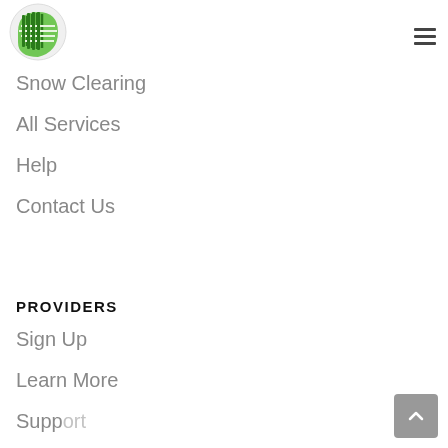[Figure (logo): Green circular logo with grid/circuit board pattern and horizontal lines]
Snow Clearing
All Services
Help
Contact Us
PROVIDERS
Sign Up
Learn More
Support